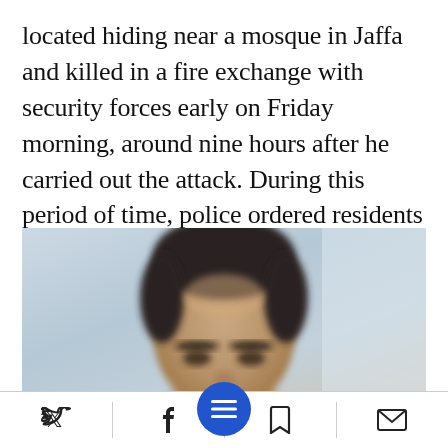located hiding near a mosque in Jaffa and killed in a fire exchange with security forces early on Friday morning, around nine hours after he carried out the attack. During this period of time, police ordered residents to stay in their homes.
[Figure (photo): Close-up photo of a young man's face, blurred, with dark hair, against a light blue/grey background]